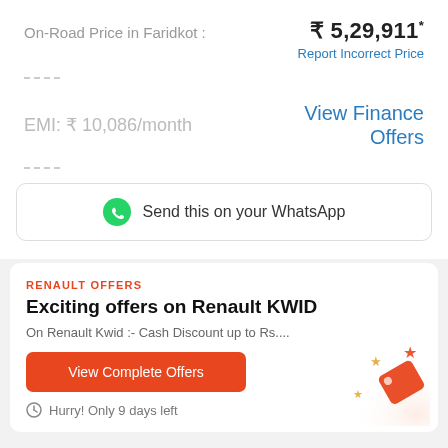On-Road Price in Faridkot : ₹ 5,29,911*
Report Incorrect Price
EMI: ₹ 10,086/month
View Finance Offers
Send this on your WhatsApp
RENAULT OFFERS
Exciting offers on Renault KWID
On Renault Kwid :- Cash Discount up to Rs....
View Complete Offers
Hurry! Only 9 days left